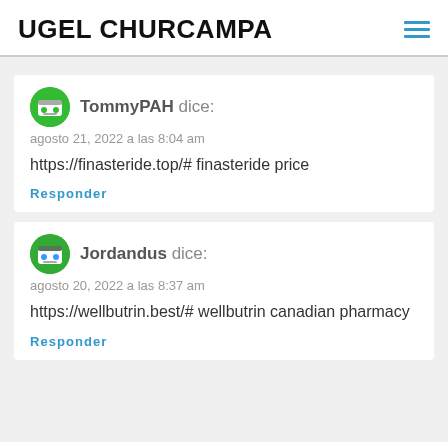UGEL CHURCAMPA
TommyPAH dice:
agosto 21, 2022 a las 8:04 am
https://finasteride.top/# finasteride price
Responder
Jordandus dice:
agosto 20, 2022 a las 8:37 am
https://wellbutrin.best/# wellbutrin canadian pharmacy
Responder